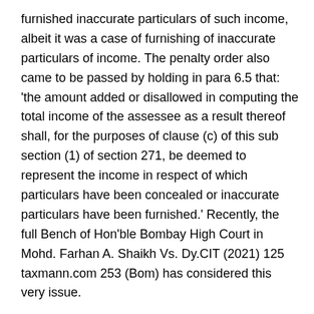furnished inaccurate particulars of such income, albeit it was a case of furnishing of inaccurate particulars of income. The penalty order also came to be passed by holding in para 6.5 that: 'the amount added or disallowed in computing the total income of the assessee as a result thereof shall, for the purposes of clause (c) of this sub section (1) of section 271, be deemed to represent the income in respect of which particulars have been concealed or inaccurate particulars have been furnished.' Recently, the full Bench of Hon'ble Bombay High Court in Mohd. Farhan A. Shaikh Vs. Dy.CIT (2021) 125 taxmann.com 253 (Bom) has considered this very issue.
Answering the question in affirmative, the Full Bench held that a defect in notice of not striking the relevant words vitiates the penalty even though the AO had properly recorded the satisfaction for imposition of penalty in the